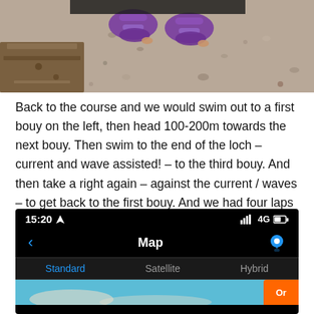[Figure (photo): Photo of purple sandals/shoes on a wooden boardwalk with gravel/pebbles visible in background]
Back to the course and we would swim out to a first bouy on the left, then head 100-200m towards the next bouy. Then swim to the end of the loch – current and wave assisted! – to the third bouy. And then take a right again – against the current / waves – to get back to the first bouy. And we had four laps to do.
[Figure (screenshot): iPhone screenshot showing a map app with status bar (15:20, 4G), navigation bar with back arrow, 'Map' title, and pin icon, segment control with Standard (active/blue), Satellite, Hybrid options, and map preview at bottom]